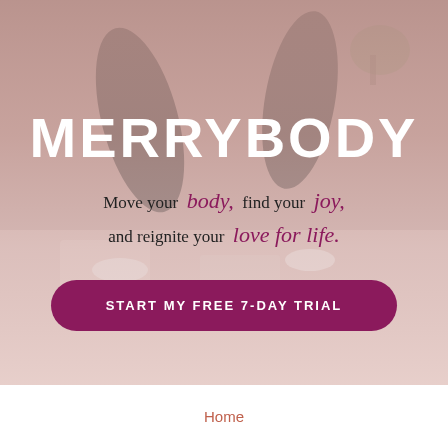[Figure (photo): Hero image of a person doing yoga/fitness exercise, legs visible, wearing black leggings, with a pinkish-toned overlay background]
MERRYBODY
Move your body find your joy, and reignite your love for life.
START MY FREE 7-DAY TRIAL
Home